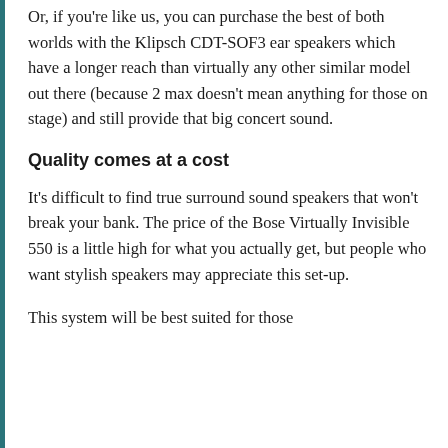Or, if you're like us, you can purchase the best of both worlds with the Klipsch CDT-SOF3 ear speakers which have a longer reach than virtually any other similar model out there (because 2 max doesn't mean anything for those on stage) and still provide that big concert sound.
Quality comes at a cost
It's difficult to find true surround sound speakers that won't break your bank. The price of the Bose Virtually Invisible 550 is a little high for what you actually get, but people who want stylish speakers may appreciate this set-up.
This system will be best suited for those